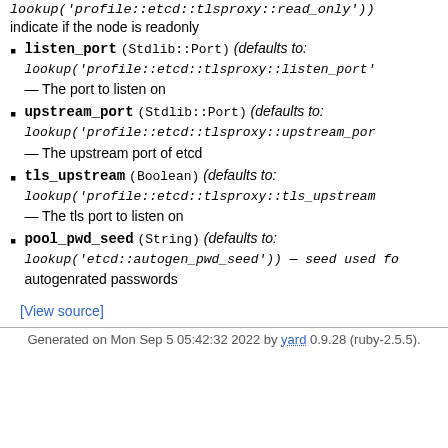read_only (Boolean) (defaults to: lookup('profile::etcd::tlsproxy::read_only')) — indicate if the node is readonly
listen_port (Stdlib::Port) (defaults to: lookup('profile::etcd::tlsproxy::listen_port')) — The port to listen on
upstream_port (Stdlib::Port) (defaults to: lookup('profile::etcd::tlsproxy::upstream_port')) — The upstream port of etcd
tls_upstream (Boolean) (defaults to: lookup('profile::etcd::tlsproxy::tls_upstream')) — The tls port to listen on
pool_pwd_seed (String) (defaults to: lookup('etcd::autogen_pwd_seed')) — seed used for autogenrated passwords
[View source]
Generated on Mon Sep 5 05:42:32 2022 by yard 0.9.28 (ruby-2.5.5).